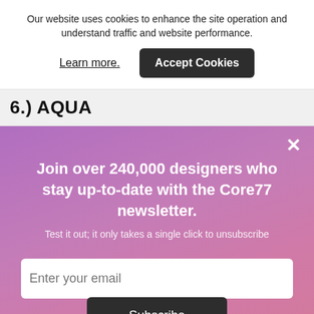Our website uses cookies to enhance the site operation and understand traffic and website performance.
Learn more.
Accept Cookies
6.) AQUA
×
Join over 240,000 designers who stay up-to-date with the Core77 newsletter.
Test it out; it only takes a single click to unsubscribe
Enter your email
Subscribe